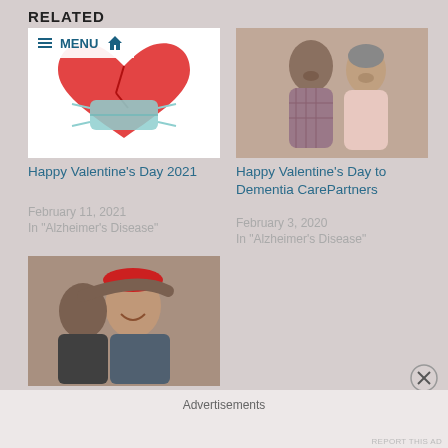RELATED
[Figure (photo): Heart graphic with COVID mask and a navigation menu overlay showing MENU and home icon]
Happy Valentine's Day 2021
February 11, 2021
In "Alzheimer's Disease"
[Figure (photo): Two elderly people, a man and woman, looking at something together]
Happy Valentine's Day to Dementia CarePartners
February 3, 2020
In "Alzheimer's Disease"
[Figure (photo): An elderly couple hugging and smiling, woman wearing a red hat]
A Valentine's Day Message for Dementia Care Partners
Advertisements